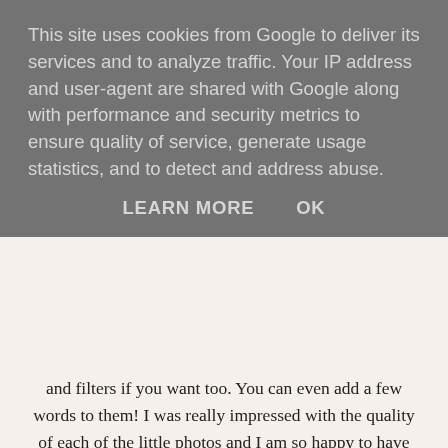This site uses cookies from Google to deliver its services and to analyze traffic. Your IP address and user-agent are shared with Google along with performance and security metrics to ensure quality of service, generate usage statistics, and to detect and address abuse.
LEARN MORE    OK
and filters if you want too. You can even add a few words to them! I was really impressed with the quality of each of the little photos and I am so happy to have some printed copies now. The pictures arrive in a gorgeous box complete with a bow and label ready to gift! The second little set from Cheerz for this Christmas is the Christmas Magnets (from £7.45). Magnets are something everybody needs so why not get some of your own photos as magnets?! I picked some of my 'arty' instagrams for the magnets and I love how they turned out! You can choose to either have 9 or 18